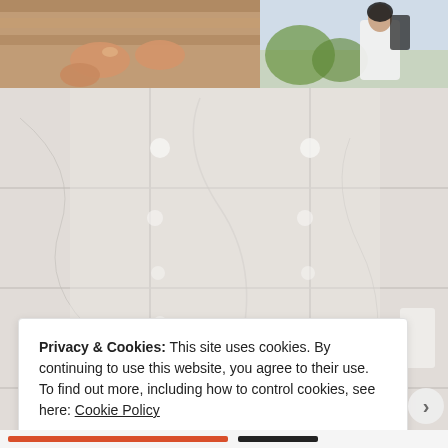[Figure (photo): Top-left photo: close-up of person's legs/hands near wooden surface]
[Figure (photo): Top-right photo: person in white shirt outdoors near green plants]
[Figure (photo): Main photo: woman sitting in marble bathroom bathtub, with Moët champagne bottle and pink rose, reflected in large mirror]
Privacy & Cookies: This site uses cookies. By continuing to use this website, you agree to their use.
To find out more, including how to control cookies, see here: Cookie Policy
Close and accept